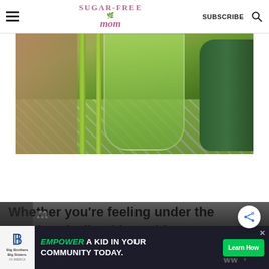SUGAR-FREE mom | SUBSCRIBE
[Figure (photo): Green smoothie in a glass on a green patterned cloth, with celery stalks and cucumber on the side]
Whether you're feeling under the weather, feeling bloated from eating too much, or just want to take your...
[Figure (screenshot): Advertisement banner: Big Brothers Big Sisters - EMPOWER A KID IN YOUR COMMUNITY TODAY. Learn How]